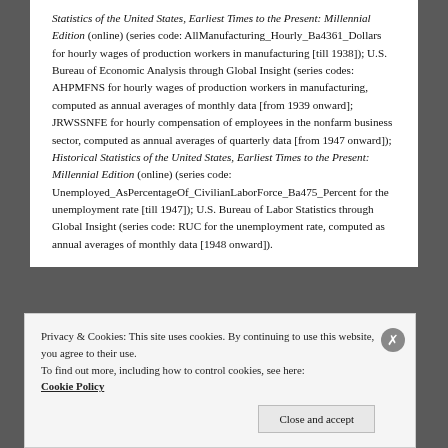Statistics of the United States, Earliest Times to the Present: Millennial Edition (online) (series code: AllManufacturing_Hourly_Ba4361_Dollars for hourly wages of production workers in manufacturing [till 1938]); U.S. Bureau of Economic Analysis through Global Insight (series codes: AHPMFNS for hourly wages of production workers in manufacturing, computed as annual averages of monthly data [from 1939 onward]; JRWSSNFE for hourly compensation of employees in the nonfarm business sector, computed as annual averages of quarterly data [from 1947 onward]); Historical Statistics of the United States, Earliest Times to the Present: Millennial Edition (online) (series code: Unemployed_AsPercentageOf_CivilianLaborForce_Ba475_Percent for the unemployment rate [till 1947]); U.S. Bureau of Labor Statistics through Global Insight (series code: RUC for the unemployment rate, computed as annual averages of monthly data [1948 onward]).
Privacy & Cookies: This site uses cookies. By continuing to use this website, you agree to their use.
To find out more, including how to control cookies, see here: Cookie Policy